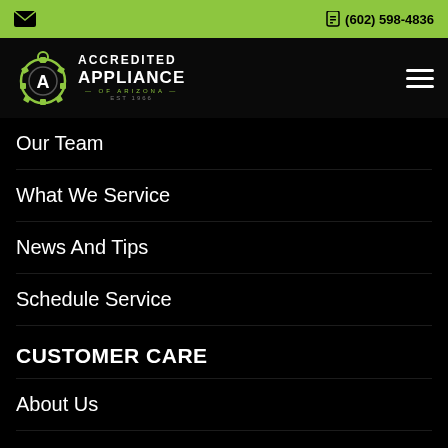✉  (602) 598-4836
[Figure (logo): Accredited Appliance of Arizona logo with gear icon, EST 1966]
Our Team
What We Service
News And Tips
Schedule Service
CUSTOMER CARE
About Us
FAQS
Privacy Policy
Conditions of Use